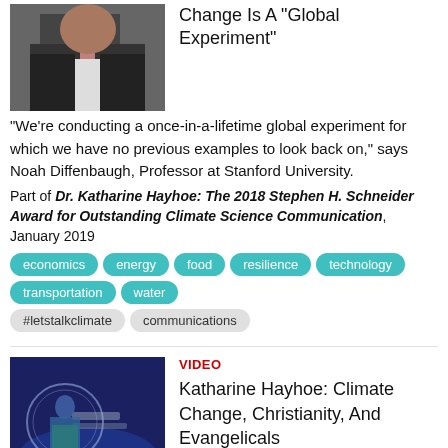[Figure (photo): Man in suit gesturing while speaking]
Change Is A "Global Experiment"
"We're conducting a once-in-a-lifetime global experiment for which we have no previous examples to look back on," says Noah Diffenbaugh, Professor at Stanford University.
Part of Dr. Katharine Hayhoe: The 2018 Stephen H. Schneider Award for Outstanding Climate Science Communication, January 2019
economics
energy
food
resilience
technology
transportation
water
#letstalkclimate
communications
[Figure (photo): Katherine Hayhoe at Schneider Awards event on stage with blue background]
VIDEO
Katharine Hayhoe: Climate Change, Christianity, And Evangelicals